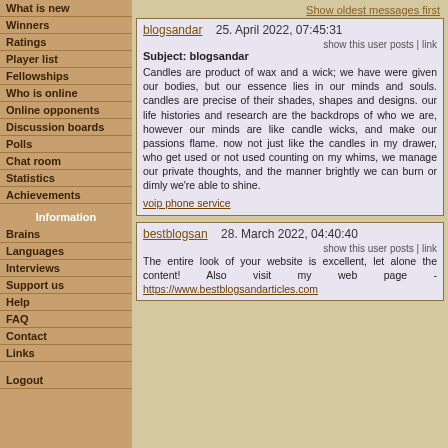What is new
Winners
Ratings
Player list
Fellowships
Who is online
Online opponents
Discussion boards
Polls
Chat room
Statistics
Achievements
Information
Brains
Languages
Interviews
Support us
Help
FAQ
Contact
Links
Logout
Show oldest messages first
blogsandar   25. April 2022, 07:45:31
show this user posts | link
Subject: blogsandar
Candles are product of wax and a wick; we have were given our bodies, but our essence lies in our minds and souls. candles are precise of their shades, shapes and designs. our life histories and research are the backdrops of who we are, however our minds are like candle wicks, and make our passions flame. now not just like the candles in my drawer, who get used or not used counting on my whims, we manage our private thoughts, and the manner brightly we can burn or dimly we're able to shine.
voip phone service
bestblogsan   28. March 2022, 04:40:40
show this user posts | link
The entire look of your website is excellent, let alone the content! Also visit my web page - https://www.bestblogsandarticles.com